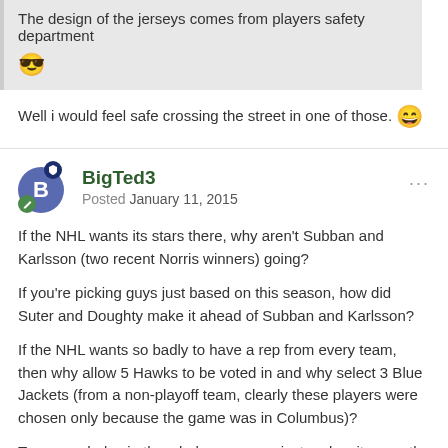The design of the jerseys comes from players safety department 😎
Well i would feel safe crossing the street in one of those. 😄
BigTed3
Posted January 11, 2015
If the NHL wants its stars there, why aren't Subban and Karlsson (two recent Norris winners) going?
If you're picking guys just based on this season, how did Suter and Doughty make it ahead of Subban and Karlsson?
If the NHL wants so badly to have a rep from every team, then why allow 5 Hawks to be voted in and why select 3 Blue Jackets (from a non-playoff team, clearly these players were chosen only because the game was in Columbus)?
Too many holes in the whole process... just makes it seem the NHL has been picking and choosing their favorites to coddle certain fans and